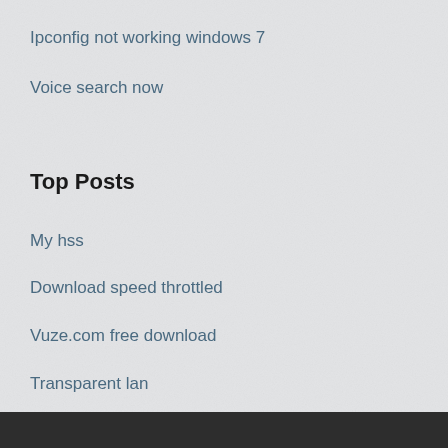Ipconfig not working windows 7
Voice search now
Top Posts
My hss
Download speed throttled
Vuze.com free download
Transparent lan
Privacy issues on facebook